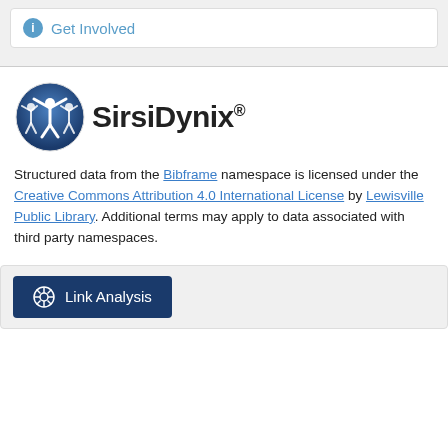ℹ Get Involved
[Figure (logo): SirsiDynix logo with circular blue icon showing figures and text 'SirsiDynix']
Structured data from the Bibframe namespace is licensed under the Creative Commons Attribution 4.0 International License by Lewisville Public Library. Additional terms may apply to data associated with third party namespaces.
Link Analysis